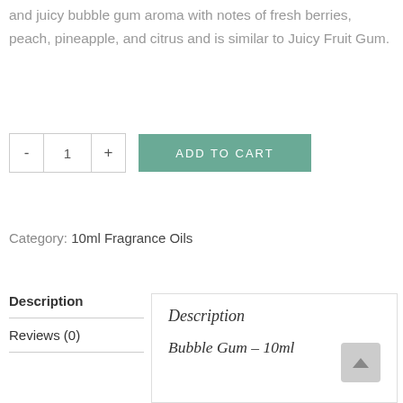and juicy bubble gum aroma with notes of fresh berries, peach, pineapple, and citrus and is similar to Juicy Fruit Gum.
- 1 + ADD TO CART
Category: 10ml Fragrance Oils
Description
Reviews (0)
Description
Bubble Gum – 10ml